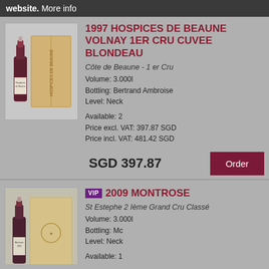website. More info
1997 HOSPICES DE BEAUNE VOLNAY 1ER CRU CUVEE BLONDEAU
Côte de Beaune - 1 er Cru
Volume: 3.000l
Bottling: Bertrand Ambroise
Level: Neck

Available: 2
Price excl. VAT: 397.87 SGD
Price incl. VAT: 481.42 SGD
SGD 397.87
VIP 2009 MONTROSE
St Estephe 2 Ième Grand Cru Classé
Volume: 3.000l
Bottling: Mc
Level: Neck

Available: 1
Price excl. VAT: 1651.54 SGD
Price incl. VAT: 1998.36 SGD
SGD 1651.54